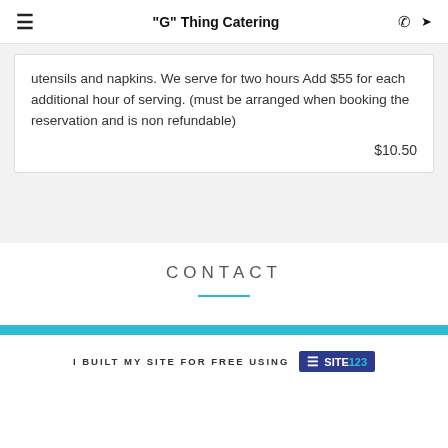"G" Thing Catering
utensils and napkins. We serve for two hours Add $55 for each additional hour of serving. (must be arranged when booking the reservation and is non refundable)
$10.50
CONTACT
I BUILT MY SITE FOR FREE USING SITE123